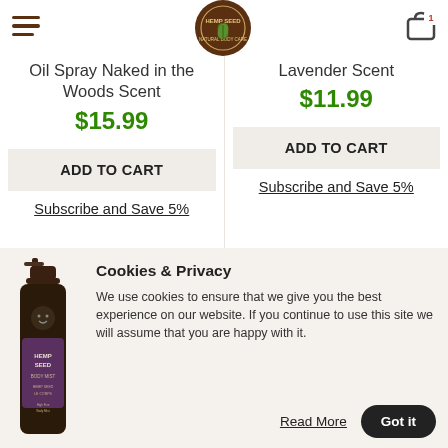Hemp Seed Natural Body Care — navigation header with hamburger menu, logo, and cart (1 item)
Oil Spray Naked in the Woods Scent
$15.99
ADD TO CART
Subscribe and Save 5%
Lavender Scent
$11.99
ADD TO CART
Subscribe and Save 5%
[Figure (photo): Hemp Seed Body Mist bottle with purple label]
Cookies & Privacy
We use cookies to ensure that we give you the best experience on our website. If you continue to use this site we will assume that you are happy with it.
Read More
Got it